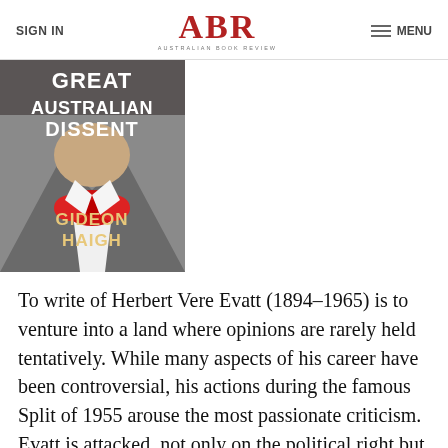SIGN IN | ABR AUSTRALIAN BOOK REVIEW | MENU
[Figure (illustration): Book cover of 'Great Australian Dissent' by Gideon Haigh, showing a man in a suit with a red bow tie, text overlaid in white and gold lettering.]
To write of Herbert Vere Evatt (1894–1965) is to venture into a land where opinions are rarely held tentatively. While many aspects of his career have been controversial, his actions during the famous Split of 1955 arouse the most passionate criticism. Evatt is attacked, not only on the political right but frequently from within the